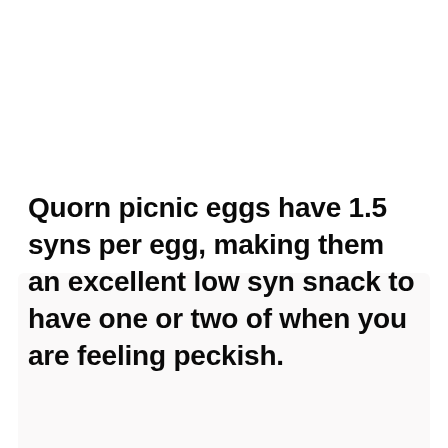Quorn picnic eggs have 1.5 syns per egg, making them an excellent low syn snack to have one or two of when you are feeling peckish.